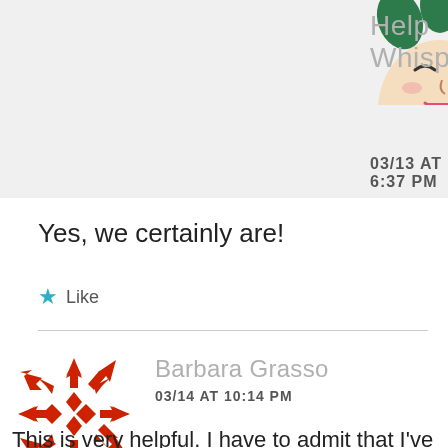[Figure (illustration): Partial view of illustrated female avatar with floral hair elements, partially cropped at top]
Help Whisperer™
03/13 AT 6:37 PM
Yes, we certainly are!
★ Like
[Figure (logo): Red geometric snowflake/mandala logo for Barbara Grasso]
Barbara Grasso
03/14 AT 10:14 PM
This is very helpful. I have to admit that I've always considered these qualities in myself to be a curse. Medication has certainly helped in knowing how it feels